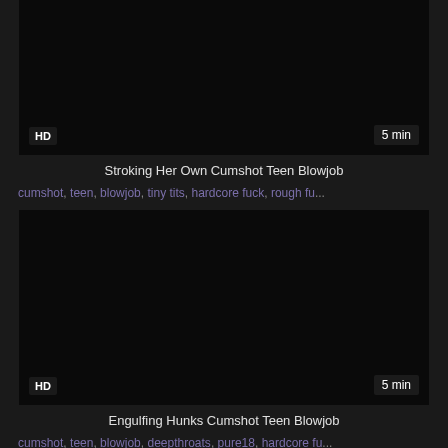[Figure (photo): Dark video thumbnail with HD badge bottom-left and '5 min' badge bottom-right]
Stroking Her Own Cumshot Teen Blowjob
cumshot, teen, blowjob, tiny tits, hardcore fuck, rough fu...
[Figure (photo): Dark video thumbnail with HD badge bottom-left and '5 min' badge bottom-right]
Engulfing Hunks Cumshot Teen Blowjob
cumshot, teen, blowjob, deepthroats, pure18, hardcore fu...